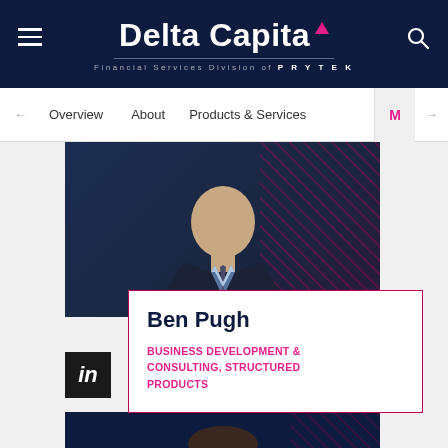Delta Capita — Financial Services Division of PRYTEK
Overview   About   Products & Services   M
[Figure (photo): Professional headshot of Ben Pugh against dark navy background with magenta diagonal line decoration]
Ben Pugh
BUSINESS DEVELOPMENT & CONSULTING, STRUCTURED PRODUCTS
[Figure (photo): Professional headshot of a second person against dark navy background with diagonal line decoration, partially visible]